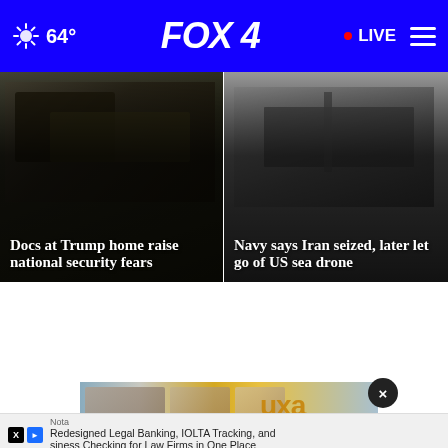64° FOX 4 • LIVE
[Figure (photo): Military vehicles and personnel with flags - Trump home documents story]
Docs at Trump home raise national security fears
[Figure (photo): Aerial grayscale photo of a naval vessel at sea - Iran seized US sea drone story]
Navy says Iran seized, later let go of US sea drone
Top Stories ▶
[Figure (photo): Advertisement banner showing people at an event with colorful background and close button]
Nota
Redesigned Legal Banking, IOLTA Tracking, and siness Checking for Law Firms in One Place